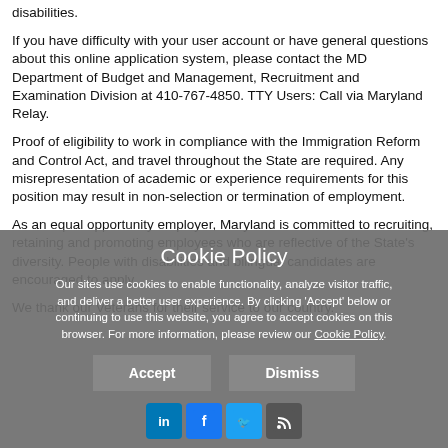disabilities.
If you have difficulty with your user account or have general questions about this online application system, please contact the MD Department of Budget and Management, Recruitment and Examination Division at 410-767-4850. TTY Users: Call via Maryland Relay.
Proof of eligibility to work in compliance with the Immigration Reform and Control Act, and travel throughout the State are required. Any misrepresentation of academic or experience requirements for this position may result in non-selection or termination of employment.
As an equal opportunity employer, Maryland is committed to recruiting, retaining and promoting employees who are reflective of the State's diversity. People with disabilities and bilingual candidates are encouraged to apply.
We thank our Veterans for their service to our country.
[Figure (other): Cookie Policy overlay with Accept and Dismiss buttons and social media icons (LinkedIn, Facebook, Twitter, RSS)]